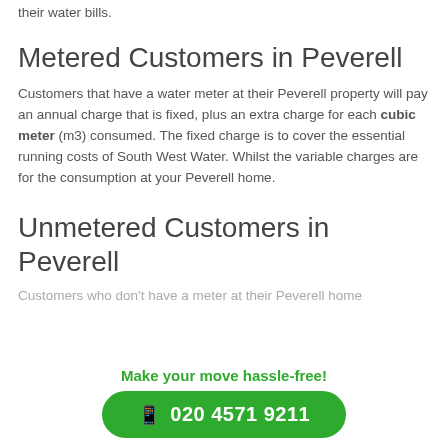their water bills.
Metered Customers in Peverell
Customers that have a water meter at their Peverell property will pay an annual charge that is fixed, plus an extra charge for each cubic meter (m3) consumed. The fixed charge is to cover the essential running costs of South West Water. Whilst the variable charges are for the consumption at your Peverell home.
Unmetered Customers in Peverell
Customers who don't have a meter at their Peverell home
Make your move hassle-free!
020 4571 9211